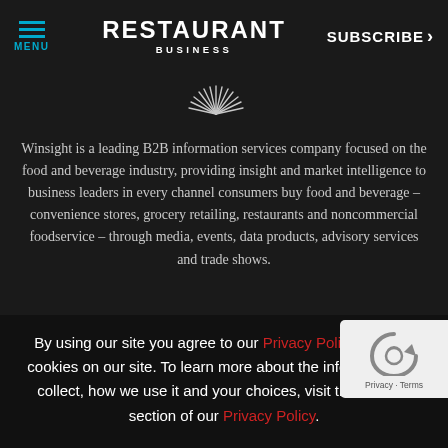MENU | RESTAURANT BUSINESS | SUBSCRIBE >
[Figure (logo): Decorative starburst / radial lines logo graphic at top center]
Winsight is a leading B2B information services company focused on the food and beverage industry, providing insight and market intelligence to business leaders in every channel consumers buy food and beverage – convenience stores, grocery retailing, restaurants and noncommercial foodservice – through media, events, data products, advisory services and trade shows.
By using our site you agree to our Privacy Policy. We use cookies on our site. To learn more about the information we collect, how we use it and your choices, visit the cookies section of our Privacy Policy.